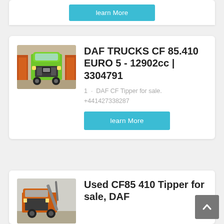[Figure (screenshot): Partial bottom of a card showing a 'learn More' button on cyan/teal background]
DAF TRUCKS CF 85.410 EURO 5 - 12902cc | 3304791
1 · DAF CF Tipper for sale. +441427338287
learn More
[Figure (photo): Green DAF CF truck front view in warehouse with orange trailers]
Used CF85 410 Tipper for sale, DAF
[Figure (photo): Orange DAF CF85 tipper truck with crane arm]